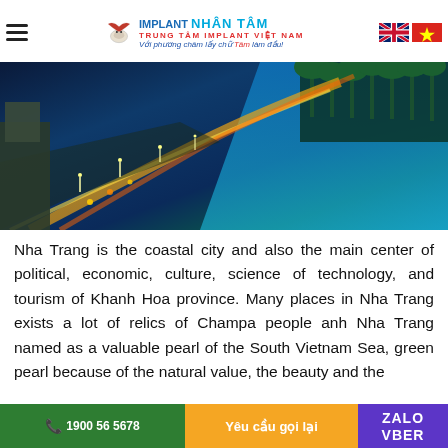IMPLANT NHÂN TÂM - TRUNG TÂM IMPLANT VIỆT NAM - Với phương châm lấy chữ Tâm làm đầu!
[Figure (photo): Aerial night view of Nha Trang coastal city with a lit boulevard running along the beach, palm trees and city lights visible]
Nha Trang is the coastal city and also the main center of political, economic, culture, science of technology, and tourism of Khanh Hoa province. Many places in Nha Trang exists a lot of relics of Champa people anh Nha Trang named as a valuable pearl of the South Vietnam Sea, green pearl because of the natural value, the beauty and the
1900 56 5678   Yêu cầu gọi lại   ZALO   VBER